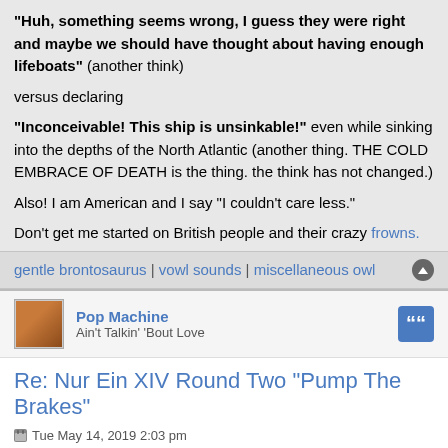"Huh, something seems wrong, I guess they were right and maybe we should have thought about having enough lifeboats" (another think)
versus declaring
"Inconceivable! This ship is unsinkable!" even while sinking into the depths of the North Atlantic (another thing. THE COLD EMBRACE OF DEATH is the thing. the think has not changed.)
Also! I am American and I say "I couldn't care less."
Don't get me started on British people and their crazy frowns.
gentle brontosaurus | vowl sounds | miscellaneous owl
Pop Machine
Ain't Talkin' 'Bout Love
Re: Nur Ein XIV Round Two "Pump The Brakes"
Tue May 14, 2019 2:03 pm
owl wrote: ↑
Pop Machine wrote: ↑